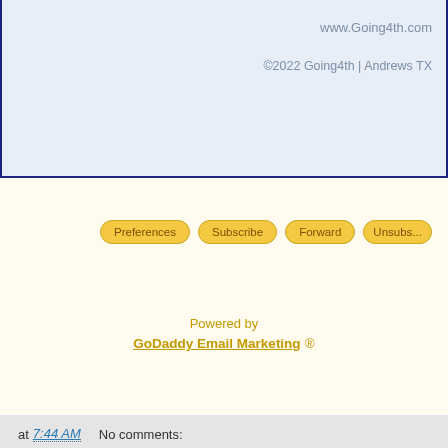www.Going4th.com
©2022 Going4th | Andrews TX
Preferences  Subscribe  Forward  Unsubs...
Powered by
GoDaddy Email Marketing ®
at 7:44 AM   No comments:
Share
Home
View web version